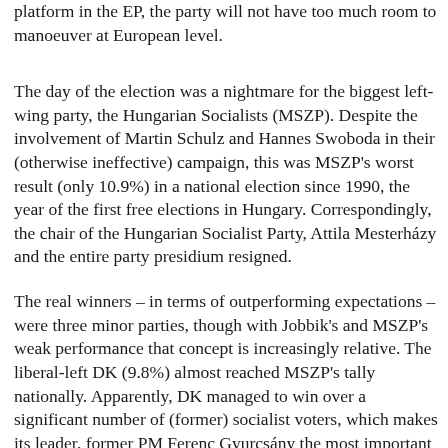platform in the EP, the party will not have too much room to manoeuver at European level.
The day of the election was a nightmare for the biggest left-wing party, the Hungarian Socialists (MSZP). Despite the involvement of Martin Schulz and Hannes Swoboda in their (otherwise ineffective) campaign, this was MSZP's worst result (only 10.9%) in a national election since 1990, the year of the first free elections in Hungary. Correspondingly, the chair of the Hungarian Socialist Party, Attila Mesterházy and the entire party presidium resigned.
The real winners – in terms of outperforming expectations – were three minor parties, though with Jobbik's and MSZP's weak performance that concept is increasingly relative. The liberal-left DK (9.8%) almost reached MSZP's tally nationally. Apparently, DK managed to win over a significant number of (former) socialist voters, which makes its leader, former PM Ferenc Gyurcsány the most important opponent of the Socialist Party. The centrist left...